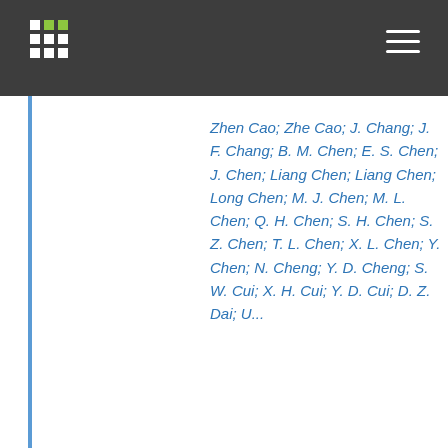Zhen Cao; Zhe Cao; J. Chang; J. F. Chang; B. M. Chen; E. S. Chen; J. Chen; Liang Chen; Liang Chen; Long Chen; M. J. Chen; M. L. Chen; Q. H. Chen; S. H. Chen; S. Z. Chen; T. L. Chen; X. L. Chen; Y. Chen; N. Cheng; Y. D. Cheng; S. W. Cui; X. H. Cui; Y. D. Cui; D. Z. Dai; ...